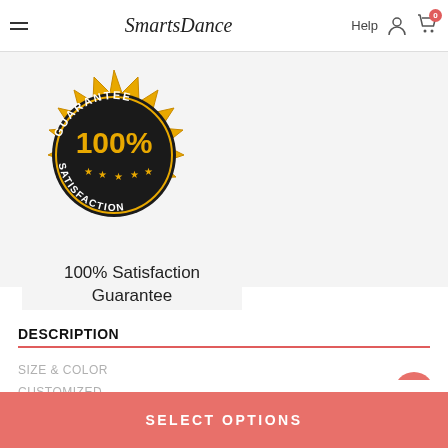SmartsDance  Help
[Figure (illustration): Gold and black 100% Satisfaction Guarantee badge/seal with stars and decorative border]
100% Satisfaction Guarantee
DESCRIPTION
SIZE & COLOR
CUSTOMIZED
SELECT OPTIONS